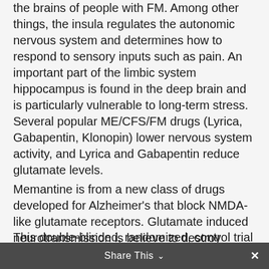the brains of people with FM. Among other things, the insula regulates the autonomic nervous system and determines how to respond to sensory inputs such as pain.  An important part of the limbic system hippocampus is found in the deep brain and is particularly vulnerable to long-term stress. Several popular ME/CFS/FM drugs (Lyrica, Gabapentin, Klonopin) lower nervous system activity, and Lyrica and Gabapentin reduce glutamate levels.
Memantine is from a new class of drugs developed for Alzheimer's that block NMDA-like glutamate receptors. Glutamate induced neurotransmission is believe to destroy neurons in Alzheimers.
This double-blinded,  randomized, control trial – which is probably already underway –  will assess pain thresholds, pain perception, cognitive state, anxiety and